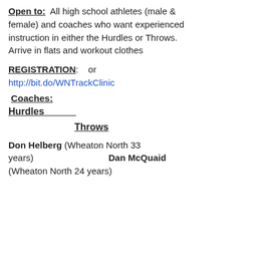Open to: All high school athletes (male & female) and coaches who want experienced instruction in either the Hurdles or Throws. Arrive in flats and workout clothes
REGISTRATION: or http://bit.do/WNTrackClinic
Coaches:
Hurdles
Throws
Don Helberg (Wheaton North 33 years) Dan McQuaid (Wheaton North 24 years)